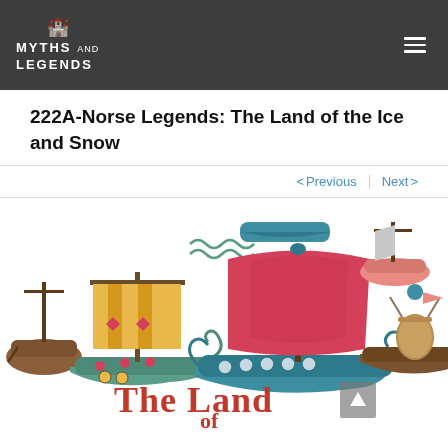MYTHS AND LEGENDS
222A-Norse Legends: The Land of the Ice and Snow
< Previous   Next >
[Figure (illustration): Colorful illustration of Viking longships with decorative patterns, shields, sails, and text reading 'The Land of' at the bottom. Multiple Viking ships in teal, red/pink, and brown colors arranged across the image.]